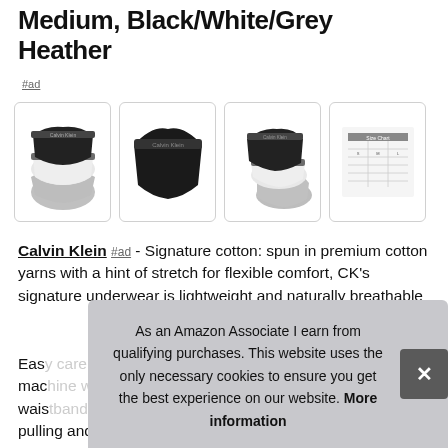Medium, Black/White/Grey Heather
#ad
[Figure (photo): Four product images of Calvin Klein underwear briefs in black, white, and grey heather colors, shown from different angles, plus a size chart image.]
Calvin Klein #ad - Signature cotton: spun in premium cotton yarns with a hint of stretch for flexible comfort, CK's signature underwear is lightweight and naturally breathable
Easy care: this underwear is machine wash...waistband...pulling and offers excellent shape retention.
As an Amazon Associate I earn from qualifying purchases. This website uses the only necessary cookies to ensure you get the best experience on our website. More information